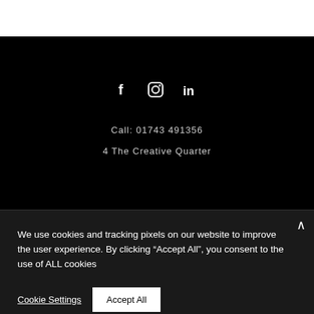[Figure (other): Social media icons: Facebook (f), Instagram (camera), LinkedIn (in) displayed in white on black background]
Call: 01743 491356
4 The Creative Quarter
We use cookies and tracking pixels on our website to improve the user experience. By clicking “Accept All”, you consent to the use of ALL cookies
Cookie Settings
Accept All